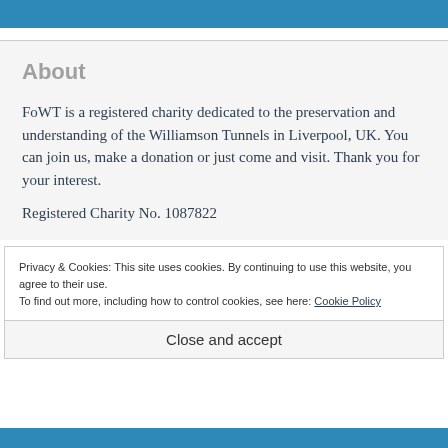About
FoWT is a registered charity dedicated to the preservation and understanding of the Williamson Tunnels in Liverpool, UK. You can join us, make a donation or just come and visit. Thank you for your interest.
Registered Charity No. 1087822
Privacy & Cookies: This site uses cookies. By continuing to use this website, you agree to their use.
To find out more, including how to control cookies, see here: Cookie Policy
Close and accept